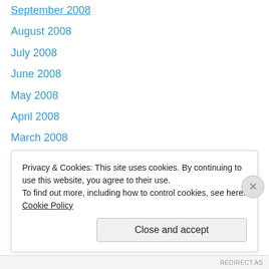September 2008
August 2008
July 2008
June 2008
May 2008
April 2008
March 2008
February 2008
January 2008
December 2007
November 2007
October 2007
September 2007
August 2007
Privacy & Cookies: This site uses cookies. By continuing to use this website, you agree to their use. To find out more, including how to control cookies, see here: Cookie Policy
Close and accept